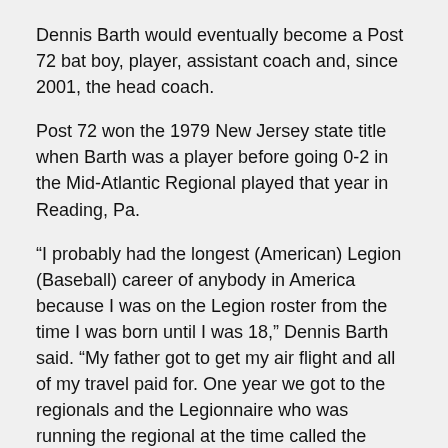Dennis Barth would eventually become a Post 72 bat boy, player, assistant coach and, since 2001, the head coach.
Post 72 won the 1979 New Jersey state title when Barth was a player before going 0-2 in the Mid-Atlantic Regional played that year in Reading, Pa.
“I probably had the longest (American) Legion (Baseball) career of anybody in America because I was on the Legion roster from the time I was born until I was 18,” Dennis Barth said. “My father got to get my air flight and all of my travel paid for. One year we got to the regionals and the Legionnaire who was running the regional at the time called the national baseball commander at the time, George Rulon, and he goes, ‘There’s a kid on the roster that’s only 5 years old. Is that legal?’ And the guy goes, ‘That’s Joe Barth’s kid.’”